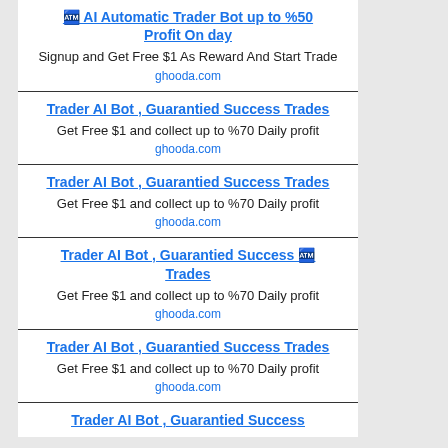🏧 AI Automatic Trader Bot up to %50 Profit On day
Signup and Get Free $1 As Reward And Start Trade
ghooda.com
Trader AI Bot , Guarantied Success Trades
Get Free $1 and collect up to %70 Daily profit
ghooda.com
Trader AI Bot , Guarantied Success Trades
Get Free $1 and collect up to %70 Daily profit
ghooda.com
Trader AI Bot , Guarantied Success Trades 🏧
Get Free $1 and collect up to %70 Daily profit
ghooda.com
Trader AI Bot , Guarantied Success Trades
Get Free $1 and collect up to %70 Daily profit
ghooda.com
Trader AI Bot , Guarantied Success